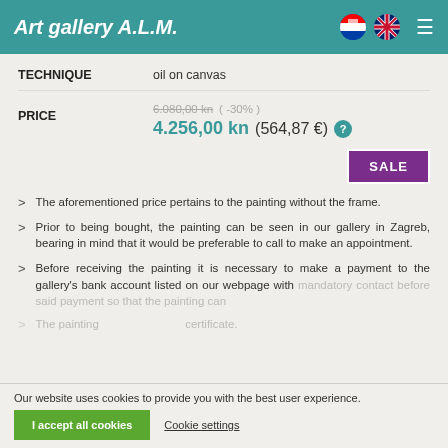Art gallery A.L.M.
| Field | Value |
| --- | --- |
| TECHNIQUE | oil on canvas |
| PRICE | 6.080,00 kn (-30%) 4.256,00 kn (564,87 €) |
The aforementioned price pertains to the painting without the frame.
Prior to being bought, the painting can be seen in our gallery in Zagreb, bearing in mind that it would be preferable to call to make an appointment.
Before receiving the painting it is necessary to make a payment to the gallery's bank account listed on our webpage with mandatory contact before said payment so that the painting can
The painting ... certificate.
Our website uses cookies to provide you with the best user experience.